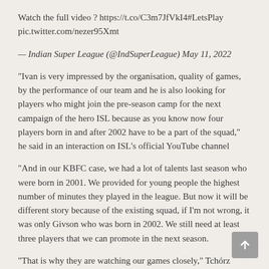Watch the full video ? https://t.co/C3m7JfVkI4#LetsPlay pic.twitter.com/nezer95Xmt
— Indian Super League (@IndSuperLeague) May 11, 2022
"Ivan is very impressed by the organisation, quality of games, by the performance of our team and he is also looking for players who might join the pre-season camp for the next campaign of the hero ISL because as you know now four players born in and after 2002 have to be a part of the squad," he said in an interaction on ISL's official YouTube channel
"And in our KBFC case, we had a lot of talents last season who were born in 2001. We provided for young people the highest number of minutes they played in the league. But now it will be different story because of the existing squad, if I'm not wrong, it was only Givson who was born in 2002. We still need at least three players that we can promote in the next season.
"That is why they are watching our games closely," Tchórz